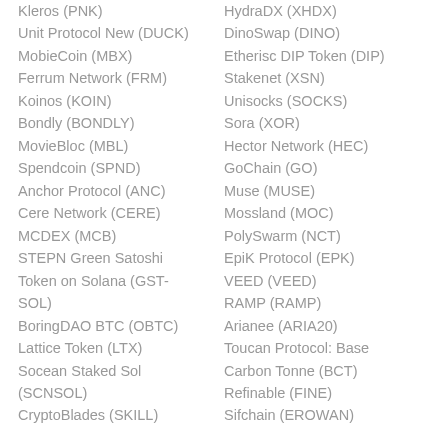Kleros (PNK)
Unit Protocol New (DUCK)
MobieCoin (MBX)
Ferrum Network (FRM)
Koinos (KOIN)
Bondly (BONDLY)
MovieBloc (MBL)
Spendcoin (SPND)
Anchor Protocol (ANC)
Cere Network (CERE)
MCDEX (MCB)
STEPN Green Satoshi Token on Solana (GST-SOL)
BoringDAO BTC (OBTC)
Lattice Token (LTX)
Socean Staked Sol (SCNSOL)
CryptoBlades (SKILL)
HydraDX (XHDX)
DinoSwap (DINO)
Etherisc DIP Token (DIP)
Stakenet (XSN)
Unisocks (SOCKS)
Sora (XOR)
Hector Network (HEC)
GoChain (GO)
Muse (MUSE)
Mossland (MOC)
PolySwarm (NCT)
EpiK Protocol (EPK)
VEED (VEED)
RAMP (RAMP)
Arianee (ARIA20)
Toucan Protocol: Base Carbon Tonne (BCT)
Refinable (FINE)
Sifchain (EROWAN)